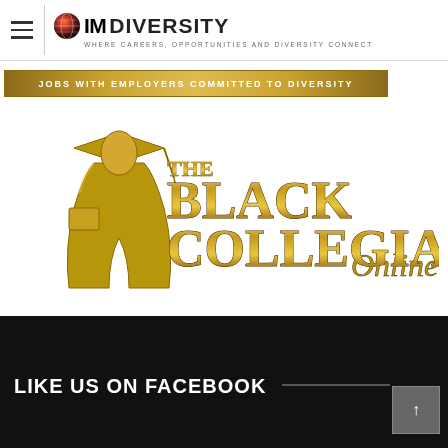IMdiversity — WHERE CAREERS, OPPORTUNITIES AND DIVERSITY CONNECT
[Figure (logo): IMdiversity logo with globe icon and tagline 'WHERE CAREERS, OPPORTUNITIES AND DIVERSITY CONNECT']
[Figure (logo): Banner reading 'JOBS WITH EMPLOYERS COMMITTED TO DIVERSITY']
[Figure (logo): The Black Collegian Online logo with gold graduation cap and mortar board graphic]
LIKE US ON FACEBOOK